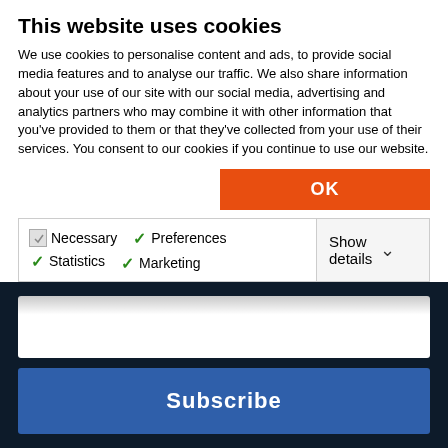This website uses cookies
We use cookies to personalise content and ads, to provide social media features and to analyse our traffic. We also share information about your use of our site with our social media, advertising and analytics partners who may combine it with other information that you've provided to them or that they've collected from your use of their services. You consent to our cookies if you continue to use our website.
OK
Necessary  Preferences  Statistics  Marketing  Show details
Subscribe
[Figure (infographic): Social media icons in circles (Facebook, Twitter, LinkedIn, Vimeo, Email, RSS) on dark navy background]